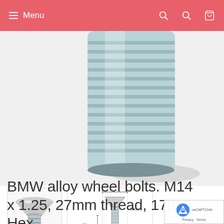Menu
[Figure (photo): Close-up photo of a BMW alloy wheel bolt showing blue/silver threaded surface with conical head, white background]
[Figure (photo): Thumbnail showing front view of wheel bolt with conical head]
[Figure (engineering-diagram): Technical diagram of wheel bolt with dimensions: 57mm length, 21mm thread, 60 degree cone angle]
BMW alloy wheel bolts. M14 x 1.25, 27mm thread, 17mm Hex